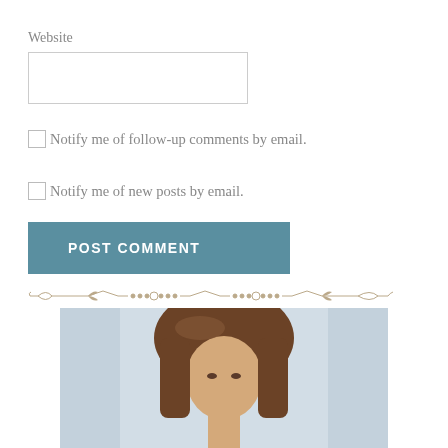Website
[Figure (screenshot): Empty website input text field, rectangular with thin gray border]
Notify me of follow-up comments by email.
Notify me of new posts by email.
POST COMMENT
[Figure (illustration): Decorative divider with scrollwork and dots]
[Figure (photo): Portrait photo of a woman with long brown hair, blurred background]